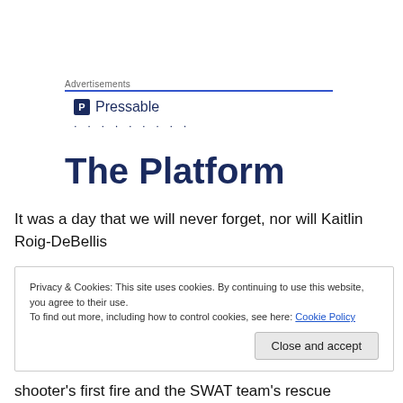Advertisements
[Figure (logo): Pressable logo with icon and dotted line]
The Platform
It was a day that we will never forget, nor will Kaitlin Roig-DeBellis
Privacy & Cookies: This site uses cookies. By continuing to use this website, you agree to their use.
To find out more, including how to control cookies, see here: Cookie Policy
Close and accept
shooter's first fire and the SWAT team's rescue